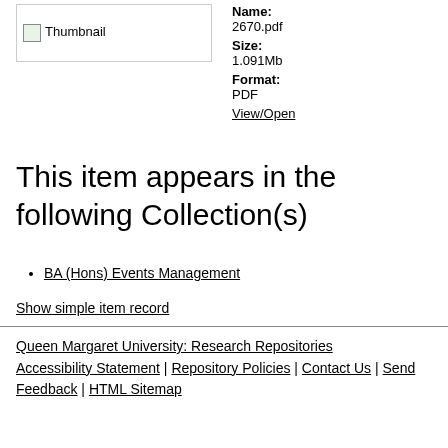[Figure (other): Thumbnail image placeholder showing broken image icon with text 'Thumbnail']
Name:
2670.pdf
Size:
1.091Mb
Format:
PDF
View/Open
This item appears in the following Collection(s)
BA (Hons) Events Management
Show simple item record
Queen Margaret University: Research Repositories Accessibility Statement | Repository Policies | Contact Us | Send Feedback | HTML Sitemap